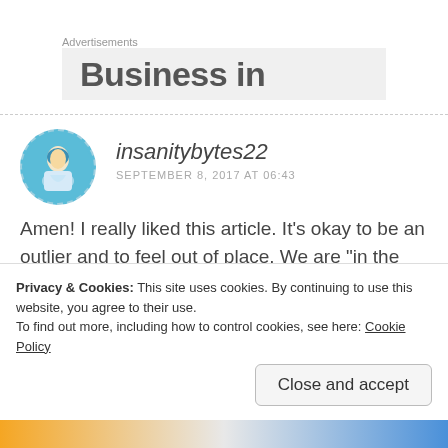Advertisements
[Figure (screenshot): Advertisement banner with bold partial text 'Business in...' on grey background]
[Figure (photo): Avatar of commenter insanitybytes22 - cartoon/illustrated figure in blue dress on teal background]
insanitybytes22
SEPTEMBER 8, 2017 AT 06:43
Amen! I really liked this article. It's okay to be an outlier and to feel out of place. We are "in the world, but not of
Privacy & Cookies: This site uses cookies. By continuing to use this website, you agree to their use.
To find out more, including how to control cookies, see here: Cookie Policy
Close and accept